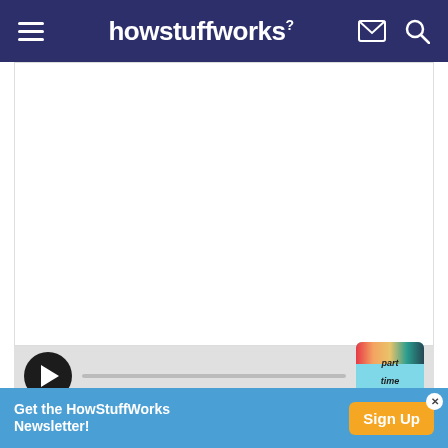howstuffworks²
Part Time Genius
[Figure (other): Podcast audio player with play button and Part Time Genius podcast thumbnail. Player bar with play/pause button and progress bar.]
The pair says that one-third to one-half of all people
Get the HowStuffWorks Newsletter! Sign Up